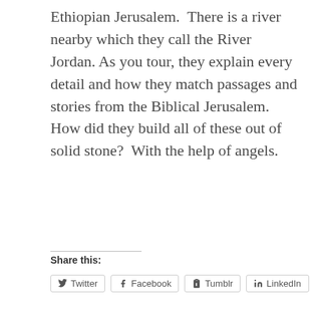Ethiopian Jerusalem.  There is a river nearby which they call the River Jordan. As you tour, they explain every detail and how they match passages and stories from the Biblical Jerusalem.  How did they build all of these out of solid stone?  With the help of angels.
Share this:
Twitter | Facebook | Tumblr | LinkedIn